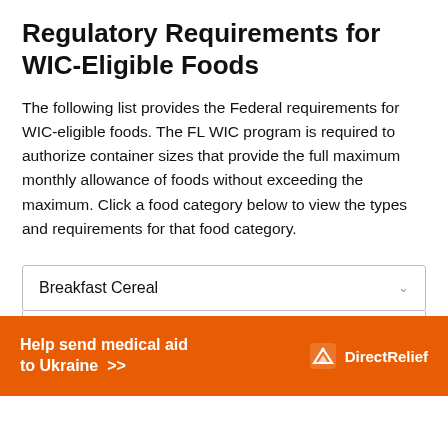Regulatory Requirements for WIC-Eligible Foods
The following list provides the Federal requirements for WIC-eligible foods. The FL WIC program is required to authorize container sizes that provide the full maximum monthly allowance of foods without exceeding the maximum. Click a food category below to view the types and requirements for that food category.
Breakfast Cereal
[Figure (other): Orange advertisement banner reading 'Help send medical aid to Ukraine >>' with Direct Relief logo and text on the right side]